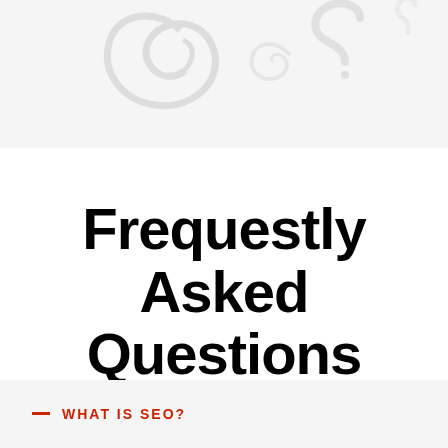[Figure (illustration): Light gray banner with decorative question mark and swirl icons in outline style]
Frequestly Asked Questions
— WHAT IS SEO?